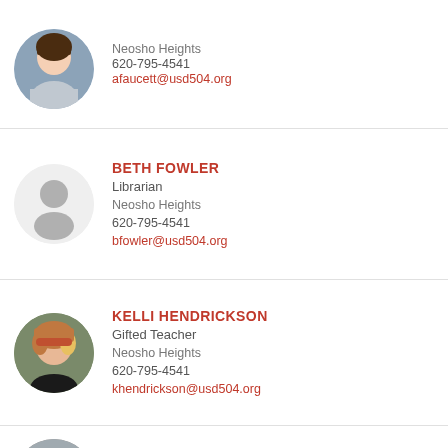[Figure (photo): Circular photo of a young woman with brown hair, partial view at top of page]
Neosho Heights
620-795-4541
afaucett@usd504.org
[Figure (photo): Default gray silhouette placeholder avatar for Beth Fowler]
BETH FOWLER
Librarian
Neosho Heights
620-795-4541
bfowler@usd504.org
[Figure (photo): Circular photo of Kelli Hendrickson, woman with auburn/blonde hair]
KELLI HENDRICKSON
Gifted Teacher
Neosho Heights
620-795-4541
khendrickson@usd504.org
[Figure (photo): Circular photo of Tiffany Higgins, woman with brown hair, partial view at bottom]
TIFFANY HIGGINS
2nd Grade Teacher
Neosho Heights